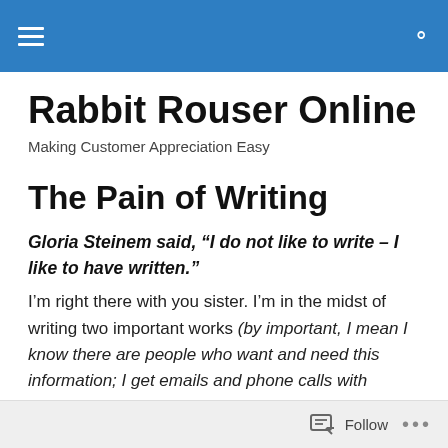Rabbit Rouser Online — site navigation header bar
Rabbit Rouser Online
Making Customer Appreciation Easy
The Pain of Writing
Gloria Steinem said, “I do not like to write – I like to have written.”
I’m right there with you sister. I’m in the midst of writing two important works (by important, I mean I know there are people who want and need this information; I get emails and phone calls with questions about it all the
Follow …